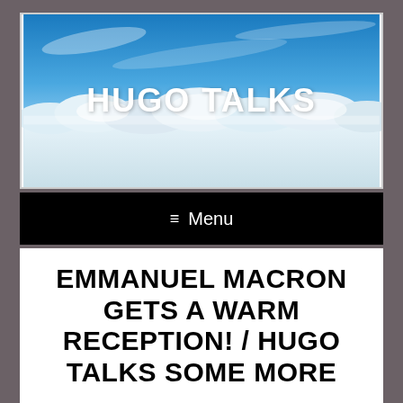[Figure (photo): Aerial view of clouds below from high altitude with blue sky above, overlaid with bold white text 'HUGO TALKS']
≡ Menu
EMMANUEL MACRON GETS A WARM RECEPTION! / HUGO TALKS SOME MORE